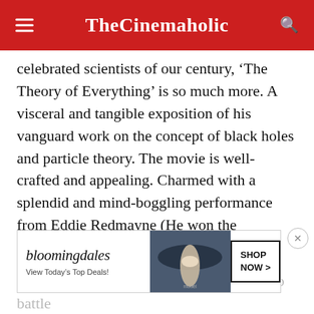TheCinemaholic
celebrated scientists of our century, ‘The Theory of Everything’ is so much more. A visceral and tangible exposition of his vanguard work on the concept of black holes and particle theory. The movie is well-crafted and appealing. Charmed with a splendid and mind-boggling performance from Eddie Redmayne (He won the Academy Award for Best Actor).
The film does justice to the great man, who battle... one of the greatest ever. The ground
[Figure (other): Bloomingdales advertisement banner with model wearing a wide-brim hat, 'View Today’s Top Deals!' text and 'SHOP NOW >' button]